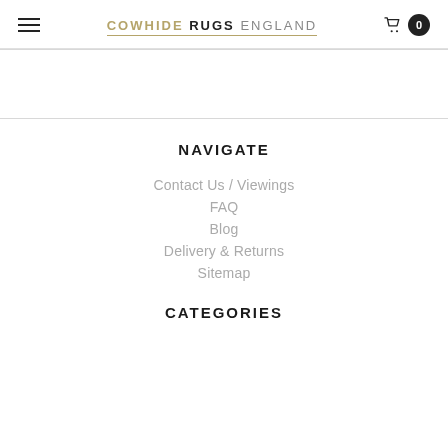COWHIDE RUGS ENGLAND
NAVIGATE
Contact Us / Viewings
FAQ
Blog
Delivery & Returns
Sitemap
CATEGORIES